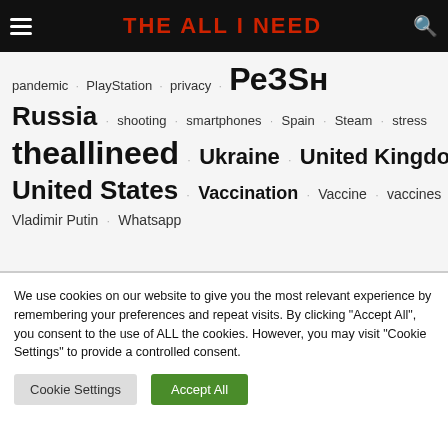THE ALL I NEED
pandemic · PlayStation · privacy · РєЗЅн · Russia · shooting · smartphones · Spain · Steam · stress · theallineed · Ukraine · United Kingdom · United States · Vaccination · Vaccine · vaccines · Vladimir Putin · Whatsapp
We use cookies on our website to give you the most relevant experience by remembering your preferences and repeat visits. By clicking "Accept All", you consent to the use of ALL the cookies. However, you may visit "Cookie Settings" to provide a controlled consent.